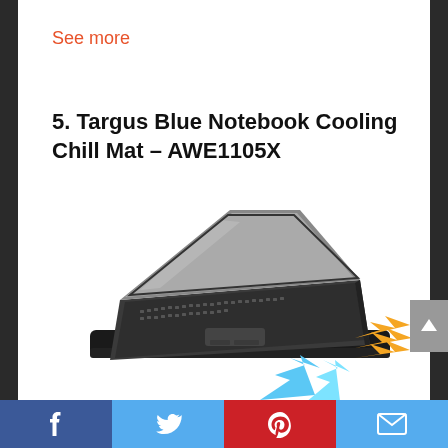See more
5. Targus Blue Notebook Cooling Chill Mat – AWE1105X
[Figure (photo): Laptop sitting on a black cooling pad/chill mat with orange arrows indicating hot air exhaust and blue arrows indicating cool air intake]
Facebook | Twitter | Pinterest | Email